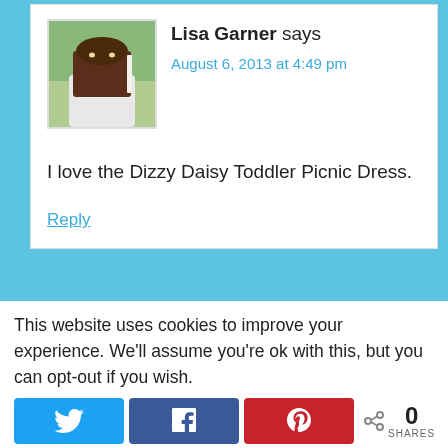[Figure (photo): Profile photo of Lisa Garner holding a book in front of her face, standing outdoors with green background]
Lisa Garner says
August 6, 2013 at 4:49 pm
I love the Dizzy Daisy Toddler Picnic Dress.
Reply
This website uses cookies to improve your experience. We'll assume you're ok with this, but you can opt-out if you wish.
0 SHARES